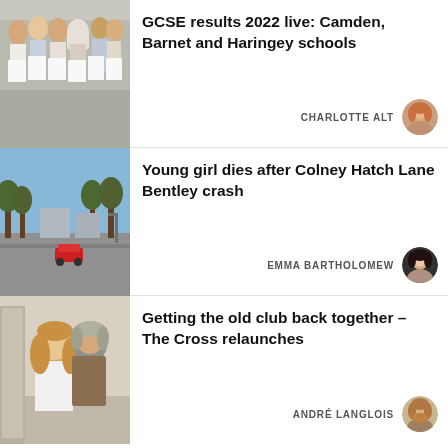[Figure (photo): Group of students holding up their GCSE result papers, smiling at camera]
GCSE results 2022 live: Camden, Barnet and Haringey schools
CHARLOTTE ALT
[Figure (photo): Street view of Colney Hatch Lane road with cars]
Young girl dies after Colney Hatch Lane Bentley crash
EMMA BARTHOLOMEW
[Figure (photo): Two people, a man and woman, posing together indoors]
Getting the old club back together – The Cross relaunches
ANDRÉ LANGLOIS